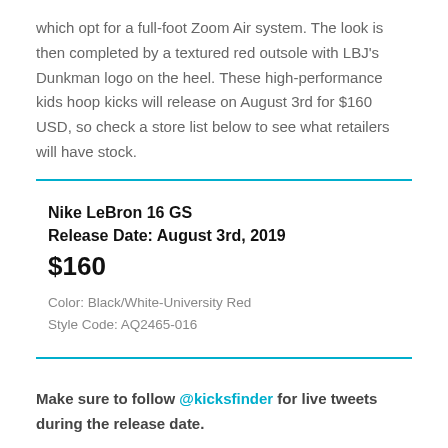which opt for a full-foot Zoom Air system. The look is then completed by a textured red outsole with LBJ's Dunkman logo on the heel. These high-performance kids hoop kicks will release on August 3rd for $160 USD, so check a store list below to see what retailers will have stock.
Nike LeBron 16 GS
Release Date: August 3rd, 2019
$160

Color: Black/White-University Red
Style Code: AQ2465-016
Make sure to follow @kicksfinder for live tweets during the release date.
Where to Buy